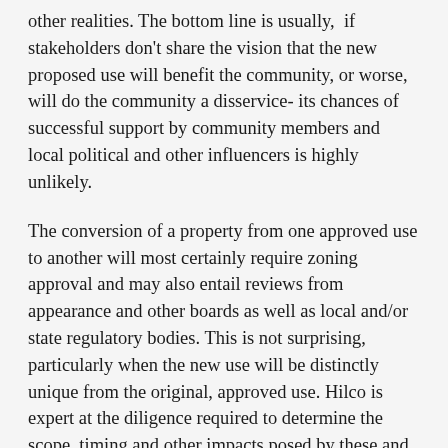other realities. The bottom line is usually, if stakeholders don't share the vision that the new proposed use will benefit the community, or worse, will do the community a disservice- its chances of successful support by community members and local political and other influencers is highly unlikely.
The conversion of a property from one approved use to another will most certainly require zoning approval and may also entail reviews from appearance and other boards as well as local and/or state regulatory bodies. This is not surprising, particularly when the new use will be distinctly unique from the original, approved use. Hilco is expert at the diligence required to determine the scope, timing and other impacts posed by these and the other types of approvals needed to ensure a project's success.